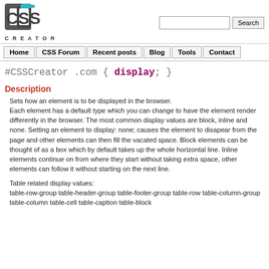CSS Creator logo + Search bar
Home | CSS Forum | Recent posts | Blog | Tools | Contact
#CSSCreator .com { display; }
Description
Sets how an element is to be displayed in the browser. Each element has a default type which you can change to have the element render differently in the browser. The most common display values are block, inline and none. Setting an element to display: none; causes the element to disapear from the page and other elements can then fill the vacated space. Block elements can be thought of as a box which by default takes up the whole horizontal line. Inline elements continue on from where they start without taking extra space, other elements can follow it without starting on the next line.
Table related display values:
table-row-group table-header-group table-footer-group table-row table-column-group table-column table-cell table-caption table-block